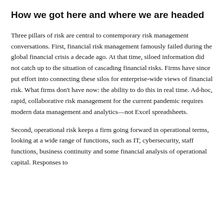How we got here and where we are headed
Three pillars of risk are central to contemporary risk management conversations. First, financial risk management famously failed during the global financial crisis a decade ago. At that time, siloed information did not catch up to the situation of cascading financial risks. Firms have since put effort into connecting these silos for enterprise-wide views of financial risk. What firms don't have now: the ability to do this in real time. Ad-hoc, rapid, collaborative risk management for the current pandemic requires modern data management and analytics—not Excel spreadsheets.
Second, operational risk keeps a firm going forward in operational terms, looking at a wide range of functions, such as IT, cybersecurity, staff functions, business continuity and some financial analysis of operational capital. Responses to